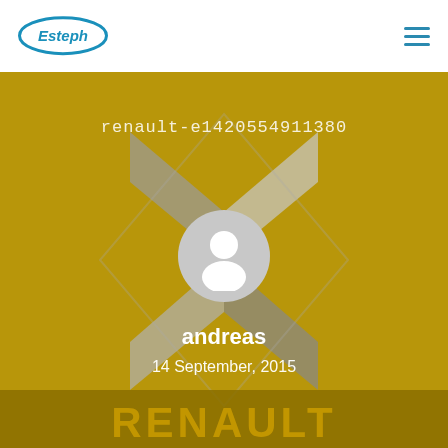[Figure (logo): Esteph logo in blue oval shape in the header]
[Figure (photo): Background photo of a blurred gold/yellow Renault diamond logo badge. A circular grey user avatar icon is overlaid in the center. Text 'renault-e1420554911380' appears at top, username 'andreas' and date '14 September, 2015' appear below the avatar.]
renault-e1420554911380
andreas
14 September, 2015